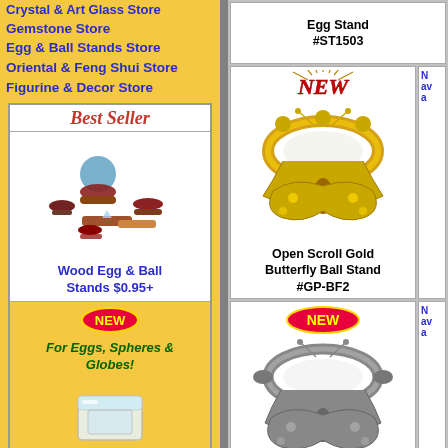Crystal & Art Glass Store
Gemstone Store
Egg & Ball Stands Store
Oriental & Feng Shui Store
Figurine & Decor Store
Best Seller
[Figure (photo): Wood egg and ball stands in various sizes and colors including red, brown and wooden bases]
Wood Egg & Ball Stands $0.95+
[Figure (photo): NEW badge (red oval) followed by text For Eggs, Spheres & Globes! and a clear/crystal acrylic box base holder]
Crystal Base Holders $1.75
[Figure (photo): Various small ball stands including gold ring, dark ring, white pearl balls, and purple gemstone ball]
Egg Stand #ST1503
[Figure (photo): NEW sunburst badge in red with gold rays, followed by gold Open Scroll Butterfly Ball Stand with filigree butterfly wing design]
Open Scroll Gold Butterfly Ball Stand #GP-BF2
[Figure (photo): NEW badge (red oval) followed by pewter/silver Open Scroll Butterfly Egg Stand with butterfly wing filigree design]
Open Scroll Butterfly Pewter Egg Stand